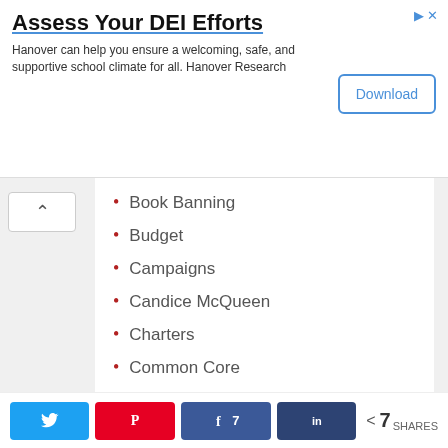[Figure (other): Advertisement banner: 'Assess Your DEI Efforts' by Hanover Research with a Download button]
Book Banning
Budget
Campaigns
Candice McQueen
Charters
Common Core
Community Schools
Coronavirus
Corporal Punishment
[Figure (other): Social sharing bar with Twitter, Pinterest, Facebook (7), LinkedIn buttons and total 7 SHARES]